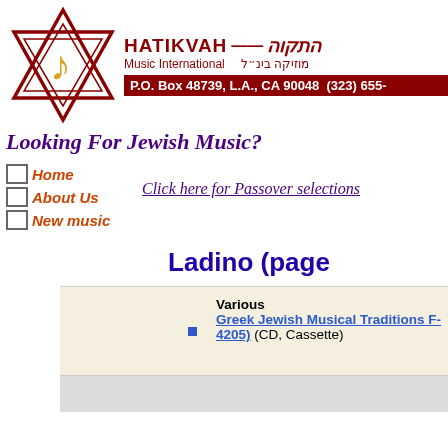[Figure (logo): Hatikvah Music International logo with Star of David and musical note, Hebrew text, address bar, and tagline 'Looking For Jewish Music?']
Home
About Us
New music
Click here for Passover selections
Ladino (page
|  | Various
Greek Jewish Musical Traditions F-4205 (CD, Cassette) |